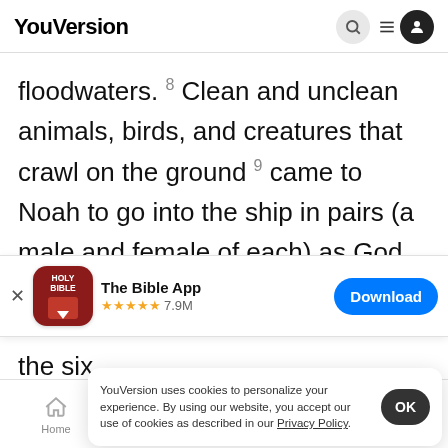YouVersion
floodwaters. 8 Clean and unclean animals, birds, and creatures that crawl on the ground 9 came to Noah to go into the ship in pairs (a male and female of each) as God had commanded Noah.
[Figure (screenshot): App download banner for The Bible App with Holy Bible icon, 5 star rating 7.9M reviews, and Download button]
the six
springs
YouVersion uses cookies to personalize your experience. By using our website, you accept our use of cookies as described in our Privacy Policy.
Home | Bible | Plans | Videos